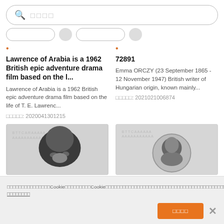[Figure (screenshot): Search bar UI with magnifying glass icon and placeholder text in Japanese/Chinese characters]
Lawrence of Arabia is a 1962 British epic adventure drama film based on the l...
Lawrence of Arabia is a 1962 British epic adventure drama film based on the life of T. E. Lawrenc...
□□□□□: 2020041301215
72891
Emma ORCZY (23 September 1865 - 12 November 1947) British writer of Hungarian origin, known mainly...
□□□□□: 2021021006874
[Figure (photo): Black and white photo of a person's face, cropped, left side]
[Figure (photo): Black and white circular portrait photo of a person, right side]
□□□□□□□□□□□□□□□Cookie□□□□□□□□□Cookie□□□□□□□□□□□□□□□□□□□□□□□□□□□□□□□□□□□□□□□□□□□□□□□□□□□□Cookie□□□□□□□□□□□□□□□□□□ □□□□□□□□